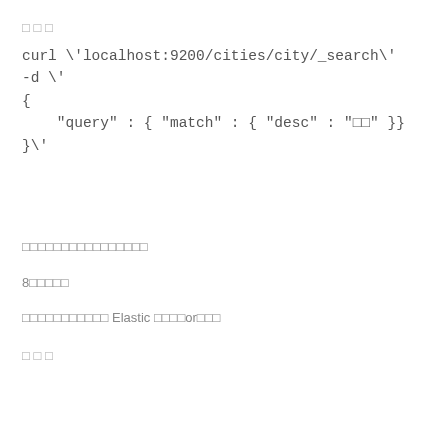□ □ □
curl \'localhost:9200/cities/city/_search\'
-d \'
{
    "query" : { "match" : { "desc" : "□□" }}
}\'
□□□□□□□□□□□□□□□□
8□□□□□
□□□□□□□□□□□ Elastic □□□□or□□□
□ □ □